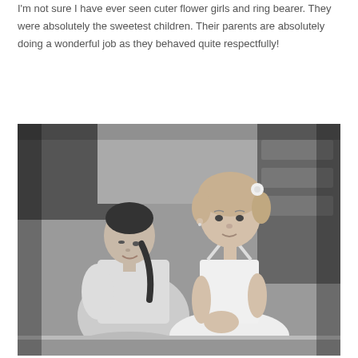I'm not sure I have ever seen cuter flower girls and ring bearer. They were absolutely the sweetest children. Their parents are absolutely doing a wonderful job as they behaved quite respectfully!
[Figure (photo): Black and white photo of a woman with a braided hairstyle kneeling beside a young girl (flower girl) with curly hair and a white flower in her hair, wearing a white dress with criss-cross straps. They appear to be indoors in a decorated room.]